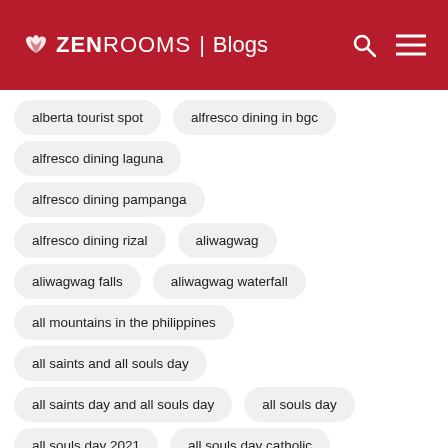ZEN ROOMS | Blogs
alberta tourist spot
alfresco dining in bgc
alfresco dining laguna
alfresco dining pampanga
alfresco dining rizal
aliwagwag
aliwagwag falls
aliwagwag waterfall
all mountains in the philippines
all saints and all souls day
all saints day and all souls day
all souls day
all souls day 2021
all souls day catholic